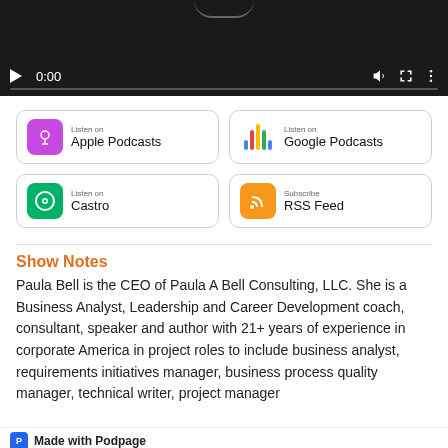[Figure (screenshot): Video/audio player with dark background showing 0:00 timestamp, play button, volume and fullscreen controls, and a progress bar]
[Figure (screenshot): Podcast platform badges: Listen on Apple Podcasts, Listen on Google Podcasts, Listen on Castro, Subscribe RSS Feed]
Show Notes
Paula Bell is the CEO of Paula A Bell Consulting, LLC. She is a Business Analyst, Leadership and Career Development coach, consultant, speaker and author with 21+ years of experience in corporate America in project roles to include business analyst, requirements initiatives manager, business process quality manager, technical writer, project manager
[Figure (logo): Made with Podpage badge at bottom]